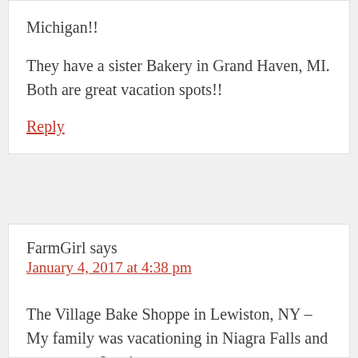Michigan!!
They have a sister Bakery in Grand Haven, MI. Both are great vacation spots!!
Reply
FarmGirl says
January 4, 2017 at 4:38 pm
The Village Bake Shoppe in Lewiston, NY – My family was vacationing in Niagra Falls and we went to Lewiston.